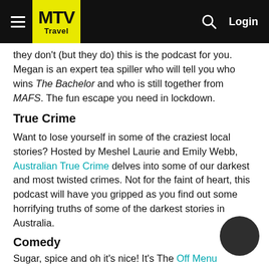MTV Travel
they don't (but they do) this is the podcast for you. Megan is an expert tea spiller who will tell you who wins The Bachelor and who is still together from MAFS. The fun escape you need in lockdown.
True Crime
Want to lose yourself in some of the craziest local stories? Hosted by Meshel Laurie and Emily Webb, Australian True Crime delves into some of our darkest and most twisted crimes. Not for the faint of heart, this podcast will have you gripped as you find out some horrifying truths of some of the darkest stories in Australia.
Comedy
Sugar, spice and oh it's nice! It's The Off Menu Podcast.